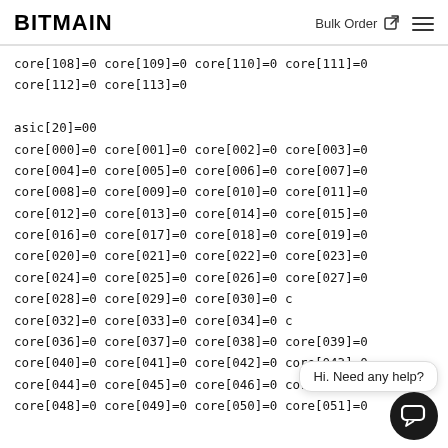BITMAIN  Bulk Order  ☰
core[108]=0 core[109]=0 core[110]=0 core[111]=0
core[112]=0 core[113]=0

asic[20]=00
core[000]=0 core[001]=0 core[002]=0 core[003]=0
core[004]=0 core[005]=0 core[006]=0 core[007]=0
core[008]=0 core[009]=0 core[010]=0 core[011]=0
core[012]=0 core[013]=0 core[014]=0 core[015]=0
core[016]=0 core[017]=0 core[018]=0 core[019]=0
core[020]=0 core[021]=0 core[022]=0 core[023]=0
core[024]=0 core[025]=0 core[026]=0 core[027]=0
core[028]=0 core[029]=0 core[030]=0 c
core[032]=0 core[033]=0 core[034]=0 c
core[036]=0 core[037]=0 core[038]=0 core[039]=0
core[040]=0 core[041]=0 core[042]=0 core[043]=0
core[044]=0 core[045]=0 core[046]=0 core[047]=0
core[048]=0 core[049]=0 core[050]=0 core[051]=0